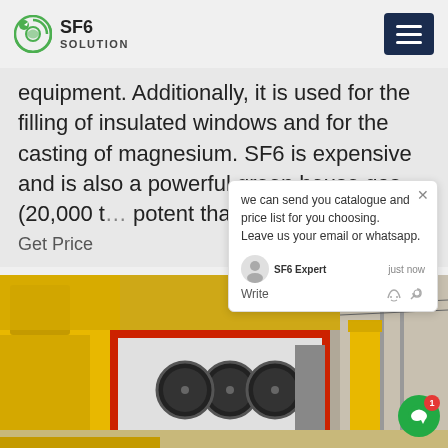SF6 SOLUTION
equipment. Additionally, it is used for the filling of insulated windows and for the casting of magnesium. SF6 is expensive and is also a powerful green house gas (20,000 times more potent than CO2).
Get Price
[Figure (photo): Yellow SF6 gas handling equipment truck with red and grey industrial unit with ventilation fans, parked at an electrical substation with crane and power infrastructure visible in background.]